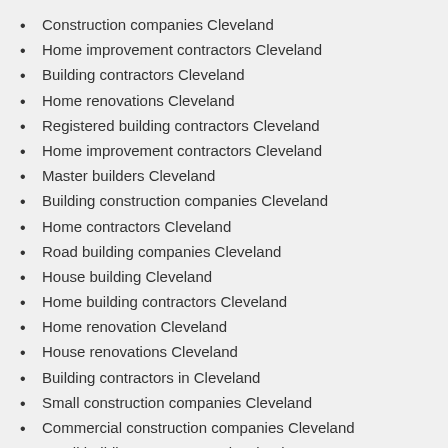Construction companies Cleveland
Home improvement contractors Cleveland
Building contractors Cleveland
Home renovations Cleveland
Registered building contractors Cleveland
Home improvement contractors Cleveland
Master builders Cleveland
Building construction companies Cleveland
Home contractors Cleveland
Road building companies Cleveland
House building Cleveland
Home building contractors Cleveland
Home renovation Cleveland
House renovations Cleveland
Building contractors in Cleveland
Small construction companies Cleveland
Commercial construction companies Cleveland
Small building contractors Cleveland
We believe that a job well done uplifts' our initial purpose of our company to keep small building contractors customers satisfied
We can assist you with your small building contractors needs
We are the best Home improvement contractors company in Cleveland so give us a call at: 010 109 3732 today!